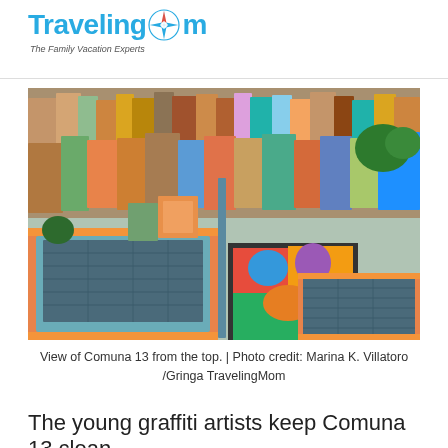TravelingMom — The Family Vacation Experts
[Figure (photo): Aerial view of Comuna 13 neighborhood in Medellín, Colombia, showing densely packed colorful houses and buildings on hillsides, with orange-roofed escalator stations in the foreground and vibrant street murals visible in the plaza area.]
View of Comuna 13 from the top. | Photo credit: Marina K. Villatoro /Gringa TravelingMom
The young graffiti artists keep Comuna 13 clean